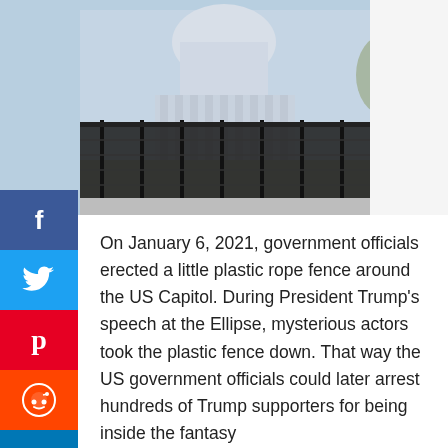[Figure (photo): Photo of the US Capitol building with a tall black security fence erected around it, bare trees visible on the right, blue sky above.]
On January 6, 2021, government officials erected a little plastic rope fence around the US Capitol. During President Trump's speech at the Ellipse, mysterious actors took the plastic fence down. That way the US government officials could later arrest hundreds of Trump supporters for being inside the fantasy